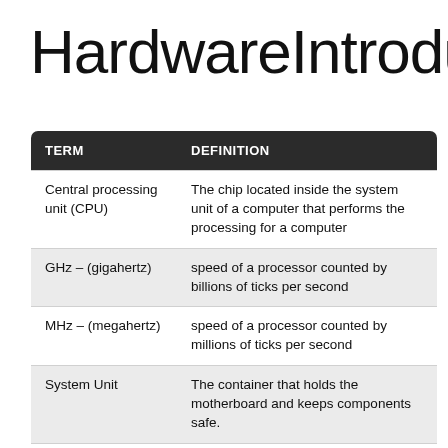Hardware Introducti…
| TERM | DEFINITION |
| --- | --- |
| Central processing unit (CPU) | The chip located inside the system unit of a computer that performs the processing for a computer |
| GHz – (gigahertz) | speed of a processor counted by billions of ticks per second |
| MHz – (megahertz) | speed of a processor counted by millions of ticks per second |
| System Unit | The container that holds the motherboard and keeps components safe. |
| Motherboard | The main circuit board of a computer to which all computer system components connect. |
| BIOS: Basic | Lowest level software in the computer that… |